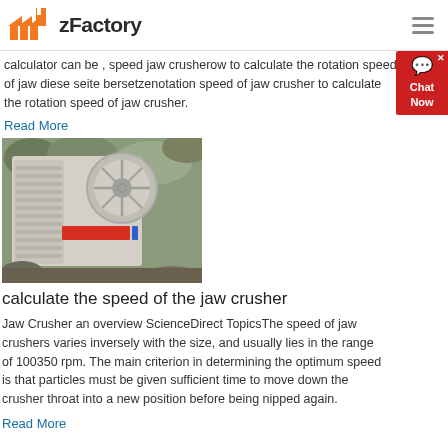zFactory
calculator can be , speed jaw crusherow to calculate the rotation speed of jaw diese seite bersetzenotation speed of jaw crusher to calculate the rotation speed of jaw crusher.
Read More
[Figure (photo): Photograph of a jaw crusher machine with large flywheel, set against a rocky background. An orange/red label is visible on the machine body.]
calculate the speed of the jaw crusher
Jaw Crusher an overview ScienceDirect TopicsThe speed of jaw crushers varies inversely with the size, and usually lies in the range of 100350 rpm. The main criterion in determining the optimum speed is that particles must be given sufficient time to move down the crusher throat into a new position before being nipped again.
Read More